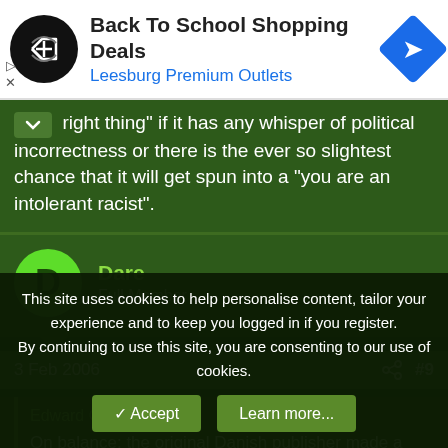[Figure (screenshot): Ad banner for Back To School Shopping Deals at Leesburg Premium Outlets with logo and navigation icon]
right thing" if it has any whisper of political incorrectness or there is the ever so slightest chance that it will get spun into a "you are an intolerant racist".
Dare
Full Member
3 Feb 2006
#9
Edward Campbell said:
On balance: the original Danish publisher made a benign error which
This site uses cookies to help personalise content, tailor your experience and to keep you logged in if you register.
By continuing to use this site, you are consenting to our use of cookies.
Accept
Learn more...